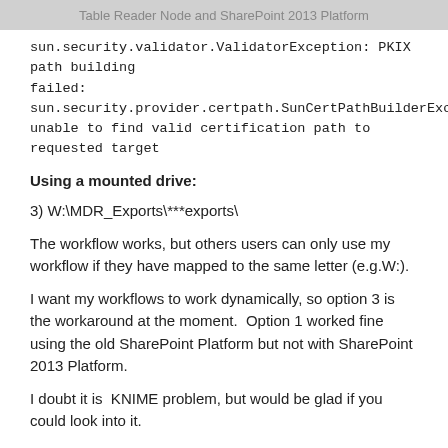Table Reader Node and SharePoint 2013 Platform
sun.security.validator.ValidatorException: PKIX path building failed: sun.security.provider.certpath.SunCertPathBuilderException: unable to find valid certification path to requested target
Using a mounted drive:
3) W:\MDR_Exports\***exports\
The workflow works, but others users can only use my workflow if they have mapped to the same letter (e.g.W:).
I want my workflows to work dynamically, so option 3 is the workaround at the moment.  Option 1 worked fine using the old SharePoint Platform but not with SharePoint 2013 Platform.
I doubt it is  KNIME problem, but would be glad if you could look into it.
Thanks